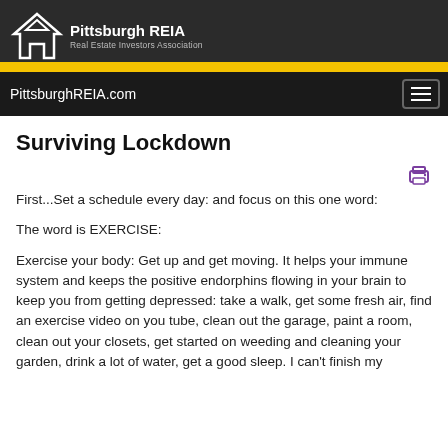Pittsburgh REIA — Real Estate Investors Association
PittsburghREIA.com
Surviving Lockdown
First...Set a schedule every day: and focus on this one word:
The word is EXERCISE:
Exercise your body: Get up and get moving. It helps your immune system and keeps the positive endorphins flowing in your brain to keep you from getting depressed: take a walk, get some fresh air, find an exercise video on you tube, clean out the garage, paint a room, clean out your closets, get started on weeding and cleaning your garden, drink a lot of water, get a good sleep. I can't finish my